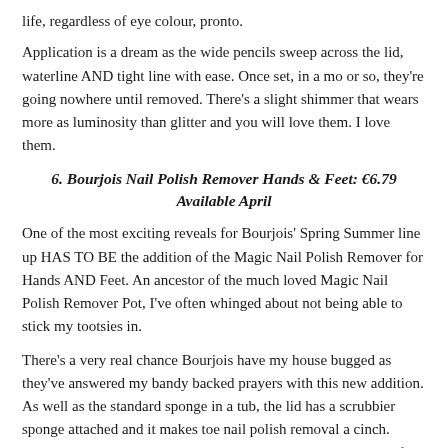life, regardless of eye colour, pronto.
Application is a dream as the wide pencils sweep across the lid, waterline AND tight line with ease. Once set, in a mo or so, they're going nowhere until removed. There's a slight shimmer that wears more as luminosity than glitter and you will love them. I love them.
6. Bourjois Nail Polish Remover Hands & Feet: €6.79 Available April
One of the most exciting reveals for Bourjois' Spring Summer line up HAS TO BE the addition of the Magic Nail Polish Remover for Hands AND Feet. An ancestor of the much loved Magic Nail Polish Remover Pot, I've often whinged about not being able to stick my tootsies in.
There's a very real chance Bourjois have my house bugged as they've answered my bandy backed prayers with this new addition. As well as the standard sponge in a tub, the lid has a scrubbier sponge attached and it makes toe nail polish removal a cinch. Summer tootsies are going to need this. I'll be buying 'em as gifts.